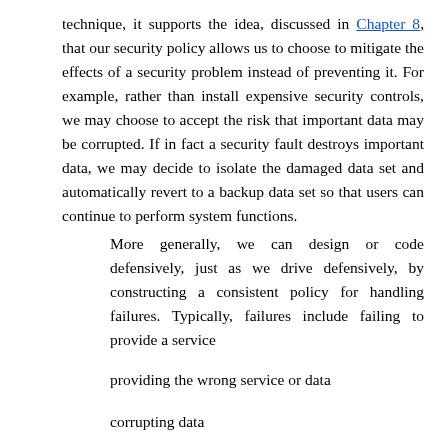technique, it supports the idea, discussed in Chapter 8, that our security policy allows us to choose to mitigate the effects of a security problem instead of preventing it. For example, rather than install expensive security controls, we may choose to accept the risk that important data may be corrupted. If in fact a security fault destroys important data, we may decide to isolate the damaged data set and automatically revert to a backup data set so that users can continue to perform system functions.
More generally, we can design or code defensively, just as we drive defensively, by constructing a consistent policy for handling failures. Typically, failures include failing to provide a service
providing the wrong service or data
corrupting data